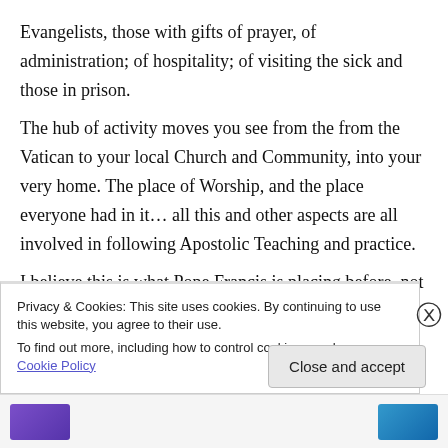Evangelists, those with gifts of prayer, of administration; of hospitality; of visiting the sick and those in prison.
The hub of activity moves you see from the from the Vatican to your local Church and Community, into your very home. The place of Worship, and the place everyone had in it… all this and other aspects are all involved in following Apostolic Teaching and practice.
I believe this is what Pope Francis is placing before, not just Roman Catholics but the whole
Privacy & Cookies: This site uses cookies. By continuing to use this website, you agree to their use.
To find out more, including how to control cookies, see here: Cookie Policy
Close and accept